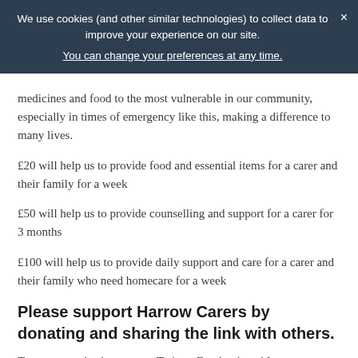We use cookies (and other similar technologies) to collect data to improve your experience on our site. You can change your preferences at any time.
medicines and food to the most vulnerable in our community, especially in times of emergency like this, making a difference to many lives.
£20 will help us to provide food and essential items for a carer and their family for a week
£50 will help us to provide counselling and support for a carer for 3 months
£100 will help us to provide daily support and care for a carer and their family who need homecare for a week
Please support Harrow Carers by donating and sharing the link with others.
To see more check us out on Twitter, Facebook and Instagram: @harrowcarers